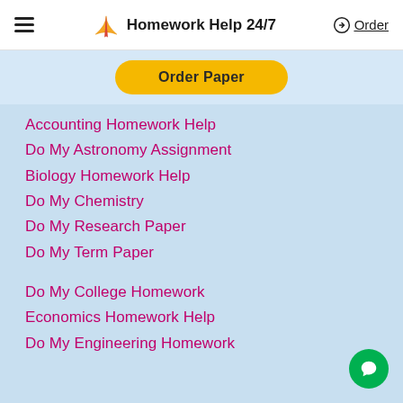Homework Help 24/7
Accounting Homework Help
Do My Astronomy Assignment
Biology Homework Help
Do My Chemistry
Do My Research Paper
Do My Term Paper
Do My College Homework
Economics Homework Help
Do My Engineering Homework